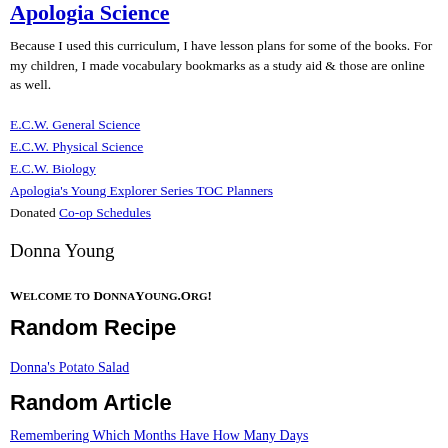Apologia Science
Because I used this curriculum, I have lesson plans for some of the books. For my children, I made vocabulary bookmarks as a study aid & those are online as well.
E.C.W. General Science
E.C.W. Physical Science
E.C.W. Biology
Apologia's Young Explorer Series TOC Planners
Donated Co-op Schedules
Donna Young
Welcome to DonnaYoung.org!
Random Recipe
Donna's Potato Salad
Random Article
Remembering Which Months Have How Many Days